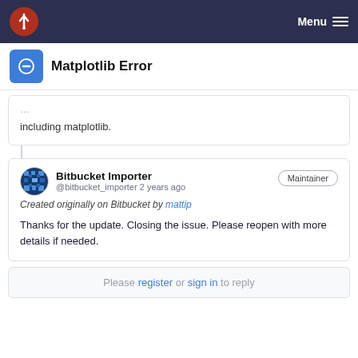Matplotlib Error — Menu
Matplotlib Error
including matplotlib.
Bitbucket Importer @bitbucket_importer 2 years ago — Maintainer
Created originally on Bitbucket by mattip
Thanks for the update. Closing the issue. Please reopen with more details if needed.
Please register or sign in to reply